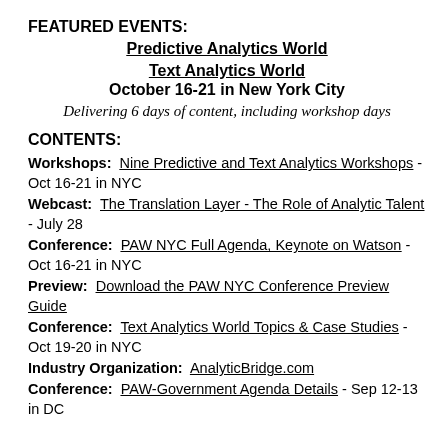FEATURED EVENTS:
Predictive Analytics World
Text Analytics World
October 16-21 in New York City
Delivering 6 days of content, including workshop days
CONTENTS:
Workshops: Nine Predictive and Text Analytics Workshops - Oct 16-21 in NYC
Webcast: The Translation Layer - The Role of Analytic Talent - July 28
Conference: PAW NYC Full Agenda, Keynote on Watson - Oct 16-21 in NYC
Preview: Download the PAW NYC Conference Preview Guide
Conference: Text Analytics World Topics & Case Studies - Oct 19-20 in NYC
Industry Organization: AnalyticBridge.com
Conference: PAW-Government Agenda Details - Sep 12-13 in DC